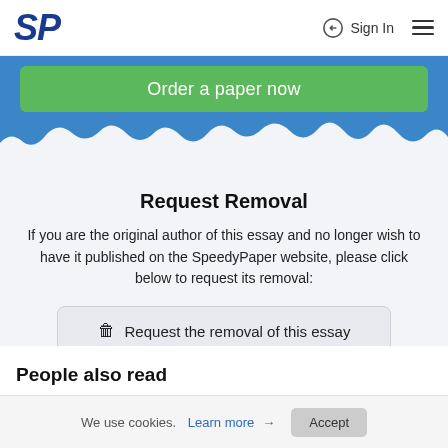SP  Sign In  ☰
Order a paper now
Request Removal
If you are the original author of this essay and no longer wish to have it published on the SpeedyPaper website, please click below to request its removal:
🗑 Request the removal of this essay
People also read
We use cookies. Learn more → Accept